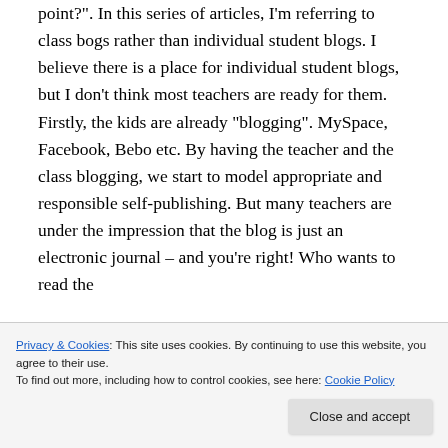point?". In this series of articles, I'm referring to class bogs rather than individual student blogs. I believe there is a place for individual student blogs, but I don't think most teachers are ready for them. Firstly, the kids are already "blogging". MySpace, Facebook, Bebo etc. By having the teacher and the class blogging, we start to model appropriate and responsible self-publishing. But many teachers are under the impression that the blog is just an electronic journal – and you're right! Who wants to read the
Privacy & Cookies: This site uses cookies. By continuing to use this website, you agree to their use.
To find out more, including how to control cookies, see here: Cookie Policy